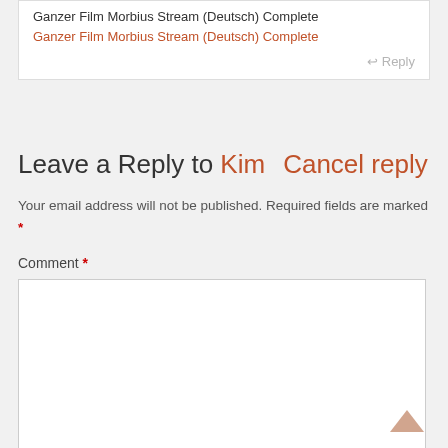Ganzer Film Morbius Stream (Deutsch) Complete
Ganzer Film Morbius Stream (Deutsch) Complete
Reply
Leave a Reply to Kim  Cancel reply
Your email address will not be published. Required fields are marked *
Comment *